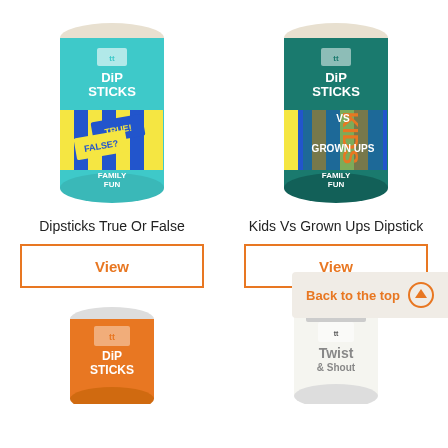[Figure (photo): Dipsticks True Or False product tube — teal/aqua colored cylindrical container with colorful stripes and TRUE/FALSE cards graphic]
[Figure (photo): Kids Vs Grown Ups Dipstick product tube — dark teal/green colored cylindrical container with colorful stripes and KIDS VS GROWN UPS text]
Dipsticks True Or False
Kids Vs Grown Ups Dipstick
View
View
Back to the top
[Figure (photo): Orange colored Dipsticks cylindrical container]
[Figure (photo): Twist & Shout product cylindrical container — white/grey colored]